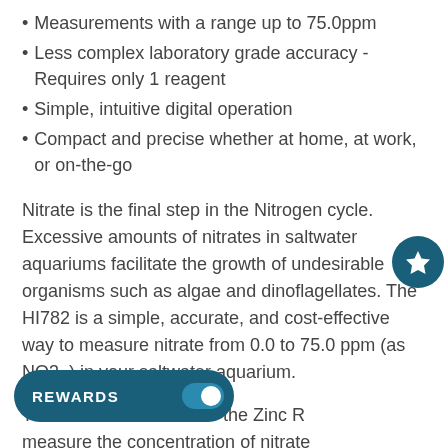Measurements with a range up to 75.0ppm
Less complex laboratory grade accuracy - Requires only 1 reagent
Simple, intuitive digital operation
Compact and precise whether at home, at work, or on-the-go
Nitrate is the final step in the Nitrogen cycle. Excessive amounts of nitrates in saltwater aquariums facilitate the growth of undesirable organisms such as algae and dinoflagellates. The HI782 is a simple, accurate, and cost-effective way to measure nitrate from 0.0 to 75.0 ppm (as NO3–) in your saltwater aquarium.
T[he Chec]ker HC uses the Zinc R[eduction to ]measure the concentration of nitrate[s in saltwater]. The HI782 [and beyond...]